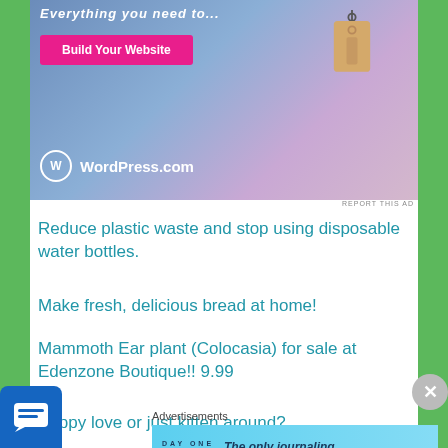[Figure (screenshot): WordPress.com advertisement banner with blue-pink gradient background, a hanging price tag illustration, a pink 'Build Your Website' button, and the WordPress.com logo at the bottom left]
REPORT THIS AD
Reduce plastic waste and stop using disposable water bottles.
Make fresh, delicious bread at home!
Mammoth Ear plant (Colocasia) for sale at Edenzone Boutique!! 9.99
Puppy love or just kitten around?
Advertisements
[Figure (screenshot): Day One journaling app advertisement: light blue background with app icon illustrations and text 'The only journaling app you'll ever need.']